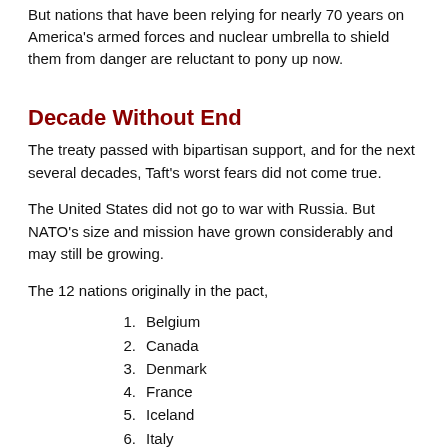But nations that have been relying for nearly 70 years on America's armed forces and nuclear umbrella to shield them from danger are reluctant to pony up now.
Decade Without End
The treaty passed with bipartisan support, and for the next several decades, Taft's worst fears did not come true.
The United States did not go to war with Russia. But NATO's size and mission have grown considerably and may still be growing.
The 12 nations originally in the pact,
Belgium
Canada
Denmark
France
Iceland
Italy
Luxembourg
the Netherlands
Norway
Portugal
the United Kingdom
the United States,